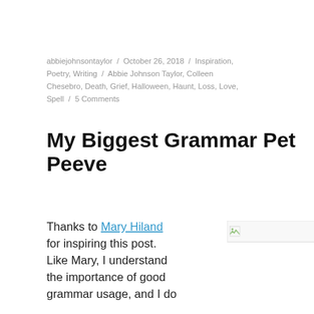abbiejohnsontaylor / October 26, 2018 / Inspiration, Poetry, Writing / Abbie Johnson Taylor, Colleen Chesebro, Death, Grief, Halloween, Haunt, Loss, Love, Spell / 5 Comments
My Biggest Grammar Pet Peeve
Thanks to Mary Hiland for inspiring this post. Like Mary, I understand the importance of good grammar usage, and I do
[Figure (photo): Small thumbnail image placeholder with broken image icon]